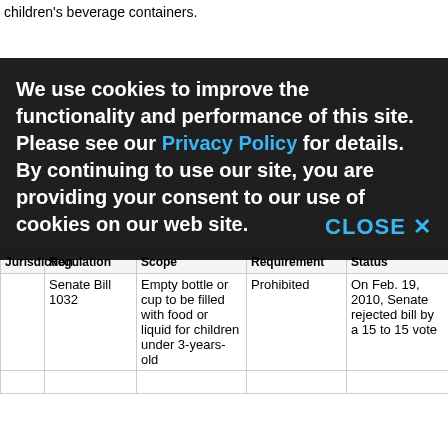children's beverage containers.
[Figure (screenshot): Cookie consent banner overlay with bold white text: 'We use cookies to improve the functionality and performance of this site. Please see our Privacy Policy for details. By continuing to use our site, you are providing your consent to our use of cookies on our web site.' with a CLOSE X button in blue.]
| Jurisdiction | Regulation | Scope | Requirement | Status |
| --- | --- | --- | --- | --- |
|  | Senate Bill 1032 | Empty bottle or cup to be filled with food or liquid for children under 3-years-old | Prohibited | On Feb. 19, 2010, Senate rejected bill by a 15 to 15 vote |
|  |  |  |  |  |